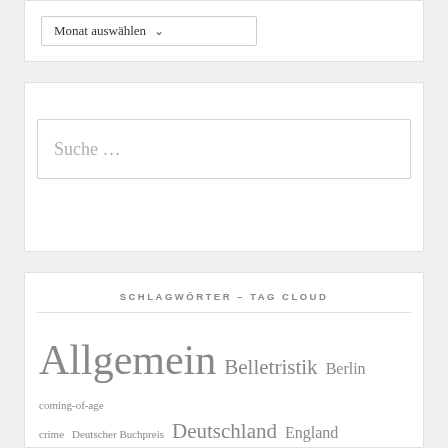Monat auswählen
[Figure (screenshot): Search box with placeholder text 'Suche …']
SCHLAGWÖRTER – TAG CLOUD
Allgemein Belletristik Berlin coming-of-age crime Deutscher Buchpreis Deutschland England Familie family Frankreich Frau Frauen Gegenwartsliteratur Hörbuch Krimi Literatur London Mord murder New York novel Paris review Rezension